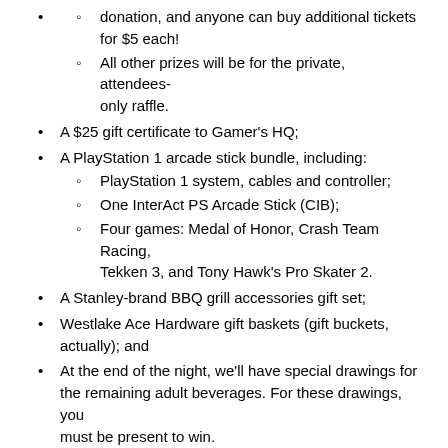donation, and anyone can buy additional tickets for $5 each!
All other prizes will be for the private, attendees-only raffle.
A $25 gift certificate to Gamer's HQ;
A PlayStation 1 arcade stick bundle, including:
PlayStation 1 system, cables and controller;
One InterAct PS Arcade Stick (CIB);
Four games: Medal of Honor, Crash Team Racing, Tekken 3, and Tony Hawk's Pro Skater 2.
A Stanley-brand BBQ grill accessories gift set;
Westlake Ace Hardware gift baskets (gift buckets, actually); and
At the end of the night, we'll have special drawings for the remaining adult beverages. For these drawings, you must be present to win.
All attendees will be given 1 ticket for the quilt raffle, and 1 ticket for the private raffle. Additional/public tickets for the